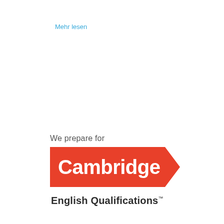Mehr lesen
[Figure (logo): Cambridge English Qualifications logo with red arrow banner containing white 'Cambridge' text, and below it 'English Qualifications' in dark gray with a trademark symbol. Above the banner is the text 'We prepare for' in gray.]